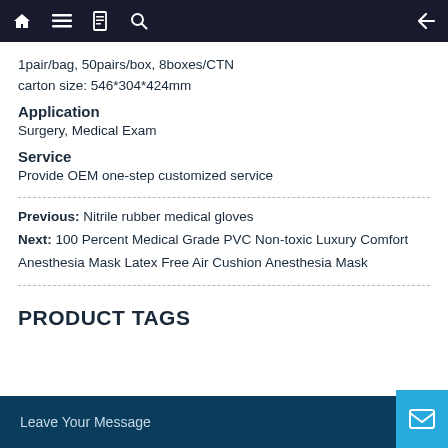navigation bar with home, menu, book, search, and back icons
1pair/bag, 50pairs/box, 8boxes/CTN
carton size: 546*304*424mm
Application
Surgery, Medical Exam
Service
Provide OEM one-step customized service
Previous: Nitrile rubber medical gloves
Next: 100 Percent Medical Grade PVC Non-toxic Luxury Comfort Anesthesia Mask Latex Free Air Cushion Anesthesia Mask
PRODUCT TAGS
Leave Your Message